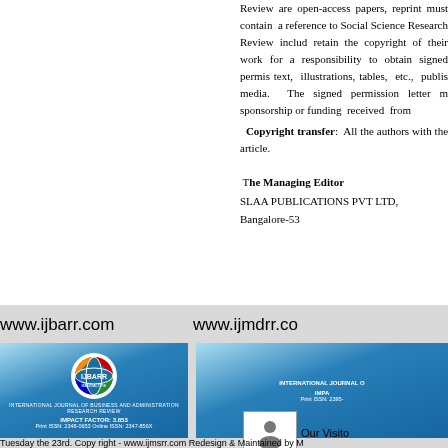Review are open-access papers, reprint must contain a reference to Social Science Research Review includ retain the copyright of their work for a responsibility to obtain signed permis text, illustrations, tables, etc., publis media. The signed permission letter m sponsorship or funding received from Copyright transfer: All the authors with the article.
The Managing Editor
SLAA PUBLICATIONS PVT LTD,
Bangalore-53
www.ijbarr.com
www.ijmdrr.co
[Figure (other): IJBARR journal banner with globe logo, blue gradient background. Text: INTERNATIONAL JOURNAL OF BUSINESS AND ADMINISTRATION RESEARCH REVIEW, IMPACT FACTOR: 3.853, Print ISSN: 2348-0653 Online ISSN: 2347-856X]
[Figure (other): Partial IJMDRR journal banner with blue gradient background. Text: INTERNATIONAL JOURNAL O... IMPA... Print ISSN: 2395-...]
Our Visito
Tuesday the 23rd. Copy right - www.ijmsrr.com Redesign & Maintained by M...